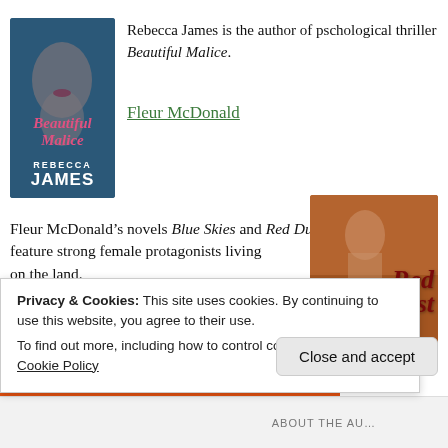[Figure (illustration): Book cover of 'Beautiful Malice' by Rebecca James — dark blue/teal background with a woman's face, pink italic title text, white author name]
Rebecca James is the author of pschological thriller Beautiful Malice.
Fleur McDonald
Fleur McDonald’s novels Blue Skies and Red Dust feature strong female protagonists living on the land.
[Figure (illustration): Book cover of 'Red Dust' by Fleur McDonald — warm orange-brown background with a woman's profile, large italic red title, white author name]
Privacy & Cookies: This site uses cookies. By continuing to use this website, you agree to their use.
To find out more, including how to control cookies, see here: Cookie Policy
Close and accept